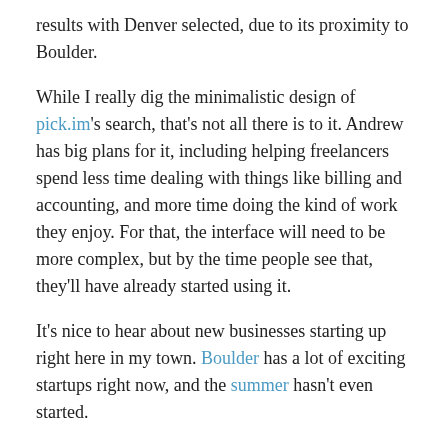results with Denver selected, due to its proximity to Boulder.
While I really dig the minimalistic design of pick.im's search, that's not all there is to it. Andrew has big plans for it, including helping freelancers spend less time dealing with things like billing and accounting, and more time doing the kind of work they enjoy. For that, the interface will need to be more complex, but by the time people see that, they'll have already started using it.
It's nice to hear about new businesses starting up right here in my town. Boulder has a lot of exciting startups right now, and the summer hasn't even started.
Posted in uncategorized | Tagged boulder, startups | Leave a comment